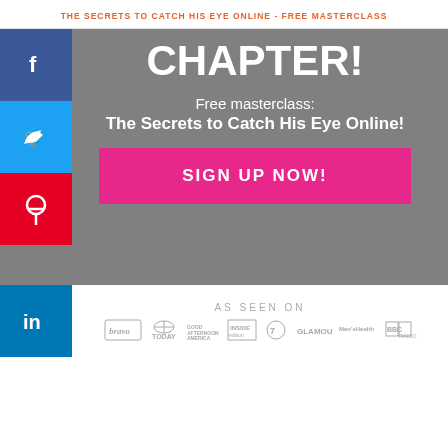THE SECRETS TO CATCH HIS EYE ONLINE - FREE MASTERCLASS
CHAPTER!
Free masterclass:
The Secrets to Catch His Eye Online!
SIGN UP NOW!
AS SEEN ON
[Figure (infographic): Media logos row: bravo, TODAY, Good Afternoon America, Inside Edition, ABC 7, GLAMOUR, Men's Health, BBC RADIO]